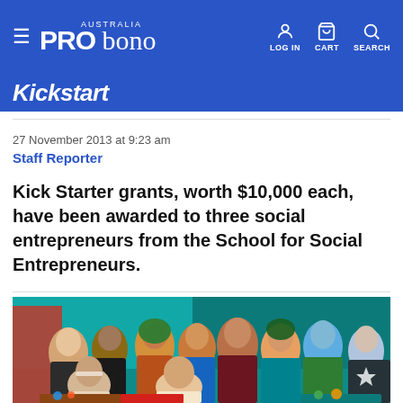PRO bono AUSTRALIA — LOG IN  CART  SEARCH
Kickstart
27 November 2013 at 9:23 am
Staff Reporter
Kick Starter grants, worth $10,000 each, have been awarded to three social entrepreneurs from the School for Social Entrepreneurs.
[Figure (photo): Group photo of diverse women, many in colorful traditional clothing, standing and sitting together outdoors at a market or community event.]